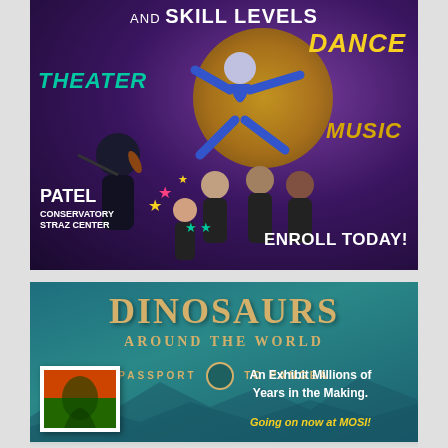[Figure (illustration): Patel Conservatory at Straz Center advertisement showing performers (violinist, dancer in blue, singers) with colored text labels THEATER, DANCE, MUSIC on dark purple background. Text reads: AND SKILL LEVELS, THEATER, DANCE, MUSIC, PATEL CONSERVATORY STRAZ CENTER, ENROLL TODAY!]
[Figure (illustration): Dinosaurs Around the World exhibit advertisement on teal background. Text reads: DINOSAURS AROUND THE WORLD, PASSPORT TO PANGEA, An Exhibit Millions of Years in the Making., Going on now at MOSI! Shows a postage stamp graphic with dinosaur imagery.]